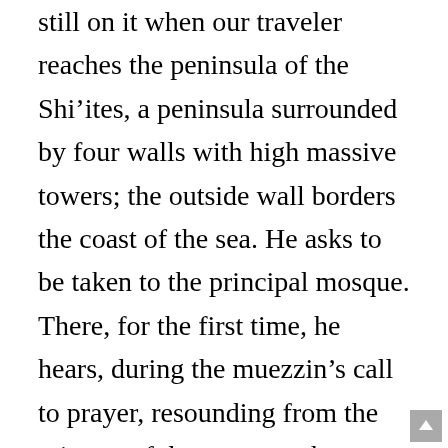still on it when our traveler reaches the peninsula of the Shi’ites, a peninsula surrounded by four walls with high massive towers; the outside wall borders the coast of the sea. He asks to be taken to the principal mosque. There, for the first time, he hears, during the muezzin’s call to prayer, resounding from the minaret of the mosque, the Shi’ite invocation asking that “Joy should hasten,” that is, the joy of the future Appearance of the Imām, who is now hidden.